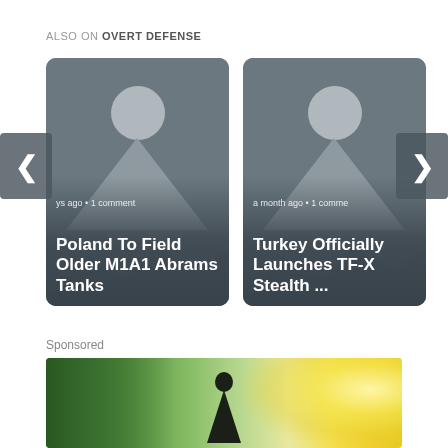ALSO ON OVERT DEFENSE
[Figure (screenshot): Card showing article: 'Poland To Field Older M1A1 Abrams Tanks' with metadata 'ys ago • 1 comment' and a placeholder image with person silhouette]
[Figure (screenshot): Card showing article: 'Turkey Officially Launches TF-X Stealth ...' with metadata 'a month ago • 1 comme' and a placeholder image with person silhouette]
Sponsored
[Figure (photo): Sponsored image showing a person in nature with green trees on left and bright sunny sky/glow on right]